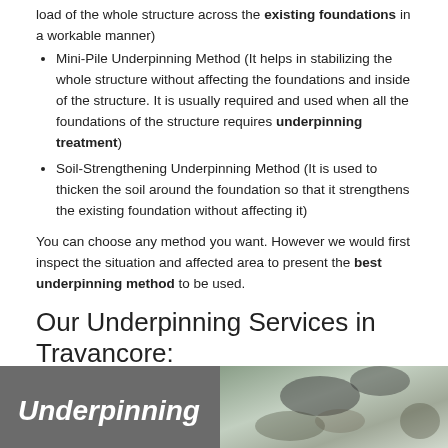load of the whole structure across the existing foundations in a workable manner)
Mini-Pile Underpinning Method (It helps in stabilizing the whole structure without affecting the foundations and inside of the structure. It is usually required and used when all the foundations of the structure requires underpinning treatment)
Soil-Strengthening Underpinning Method (It is used to thicken the soil around the foundation so that it strengthens the existing foundation without affecting it)
You can choose any method you want. However we would first inspect the situation and affected area to present the best underpinning method to be used.
Our Underpinning Services in Travancore:
We provide affordable underpinning quotes that best suits with your requirements. Our services are widespread in terms of providing best underpinning services in Travancore, such as:
[Figure (photo): Banner image with dark grey left panel showing italic bold white text 'Underpinning' and right panel showing a construction/soil photo]